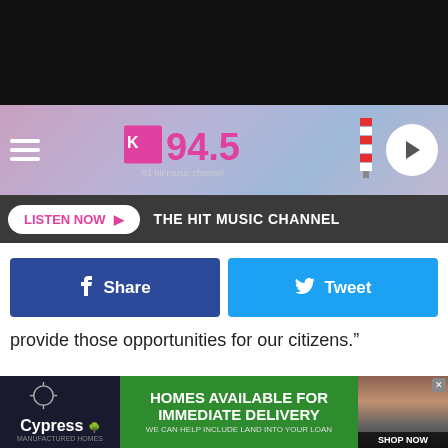[Figure (screenshot): K94.5 radio station website header with logo, hamburger menu, and play button on purple/blue gradient background]
[Figure (screenshot): Listen Now button bar with dark background reading: LISTEN NOW ► THE HIT MUSIC CHANNEL]
[Figure (screenshot): Facebook Share button (dark blue) and Twitter Tweet button (light blue)]
provide those opportunities for our citizens.”
ADVERTISEMENT
[Figure (screenshot): Cypress Homes advertisement: HOMES AVAILABLE FOR IMMEDIATE DELIVERY - WE CAN HELP INCLUDE LAND INTO YOUR LOAN - SHOP NOW]